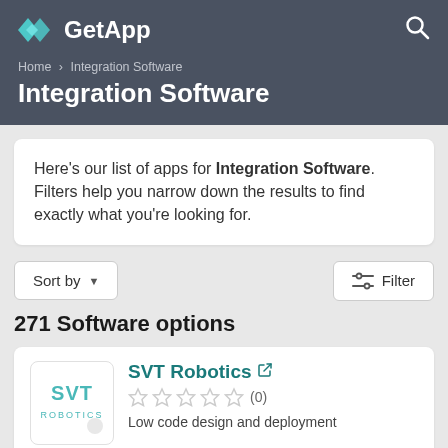GetApp
Home › Integration Software
Integration Software
Here's our list of apps for Integration Software. Filters help you narrow down the results to find exactly what you're looking for.
Sort by ▼
Filter
271 Software options
SVT Robotics ↗
☆☆☆☆☆ (0)
Low code design and deployment